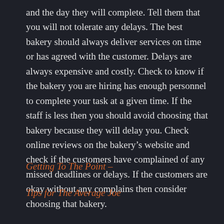and the day they will complete. Tell them that you will not tolerate any delays. The best bakery should always deliver services on time or has agreed with the customer. Delays are always expensive and costly. Check to know if the bakery you are hiring has enough personnel to complete your task at a given time. If the staff is less then you should avoid choosing that bakery because they will delay you. Check online reviews on the bakery’s website and check if the customers have complained of any missed deadlines or delays. If the customers are okay without any complains then consider choosing that bakery.
Getting To The Point –
Tips for The Average Joe